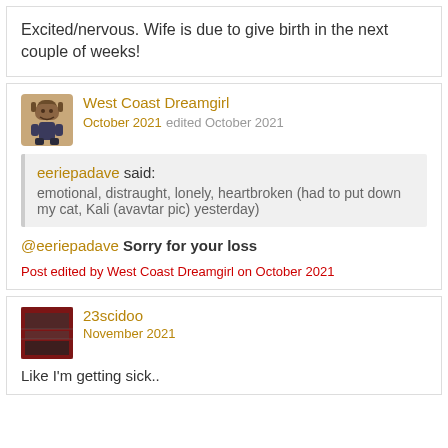Excited/nervous. Wife is due to give birth in the next couple of weeks!
West Coast Dreamgirl
October 2021 edited October 2021
eeriepadave said:
emotional, distraught, lonely, heartbroken (had to put down my cat, Kali (avavtar pic) yesterday)
@eeriepadave Sorry for your loss
Post edited by West Coast Dreamgirl on October 2021
23scidoo
November 2021
Like I'm getting sick..